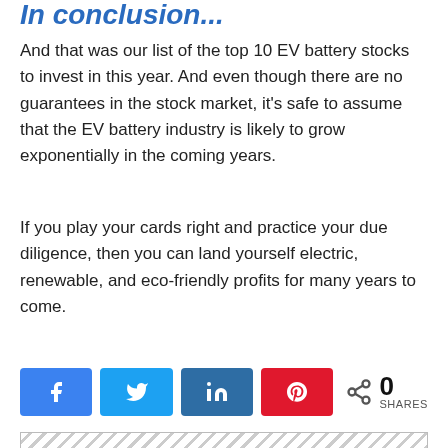In conclusion...
And that was our list of the top 10 EV battery stocks to invest in this year. And even though there are no guarantees in the stock market, it's safe to assume that the EV battery industry is likely to grow exponentially in the coming years.
If you play your cards right and practice your due diligence, then you can land yourself electric, renewable, and eco-friendly profits for many years to come.
[Figure (infographic): Social share buttons: Facebook (blue), Twitter (light blue), LinkedIn (dark blue), Pinterest (red), and a share count showing 0 SHARES]
[Figure (other): Hatched/striped placeholder box at the bottom of the page]